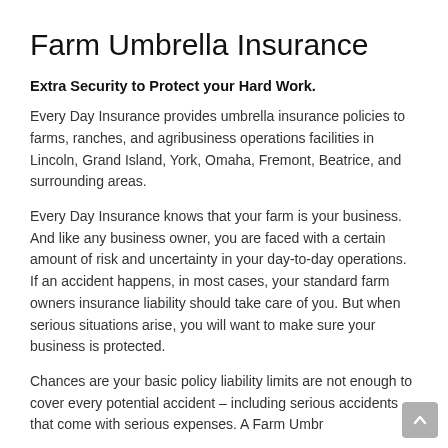Farm Umbrella Insurance
Extra Security to Protect your Hard Work.
Every Day Insurance provides umbrella insurance policies to farms, ranches, and agribusiness operations facilities in Lincoln, Grand Island, York, Omaha, Fremont, Beatrice, and surrounding areas.
Every Day Insurance knows that your farm is your business. And like any business owner, you are faced with a certain amount of risk and uncertainty in your day-to-day operations. If an accident happens, in most cases, your standard farm owners insurance liability should take care of you. But when serious situations arise, you will want to make sure your business is protected.
Chances are your basic policy liability limits are not enough to cover every potential accident – including serious accidents that come with serious expenses. A Farm Umbr…